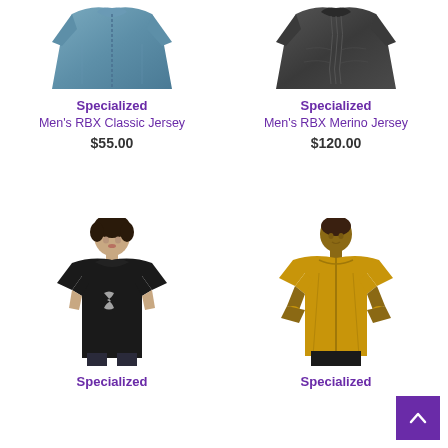[Figure (photo): Blue cycling jersey (Men's RBX Classic Jersey) laid flat, top portion visible]
Specialized
Men's RBX Classic Jersey
$55.00
[Figure (photo): Black cycling jersey (Men's RBX Merino Jersey) laid flat, top portion visible]
Specialized
Men's RBX Merino Jersey
$120.00
[Figure (photo): Man wearing black Specialized t-shirt with S-logo on chest]
Specialized
[Figure (photo): Man wearing yellow/gold Specialized cycling jersey with gloves, hands on hips]